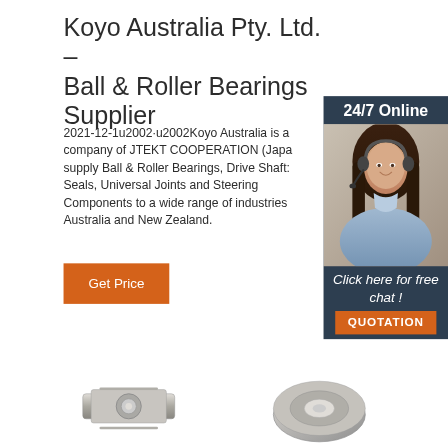Koyo Australia Pty. Ltd. – Ball & Roller Bearings Supplier
2021-12-1u2002·u2002Koyo Australia is a company of JTEKT COOPERATION (Japan). supply Ball & Roller Bearings, Drive Shafts, Seals, Universal Joints and Steering Components to a wide range of industries Australia and New Zealand.
[Figure (screenshot): 24/7 Online chat widget with a woman wearing a headset, dark navy background, orange QUOTATION button, and 'Click here for free chat!' text]
[Figure (photo): Get Price orange button]
[Figure (photo): Product images at the bottom of the page showing mechanical bearing/shaft components]